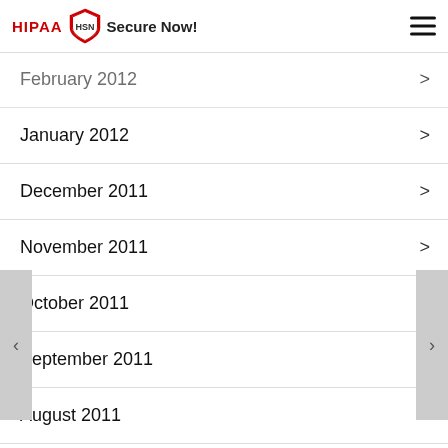HIPAA Secure Now!
February 2012
January 2012
December 2011
November 2011
October 2011
September 2011
August 2011
July 2011
June 2011
May 2011
April 2011